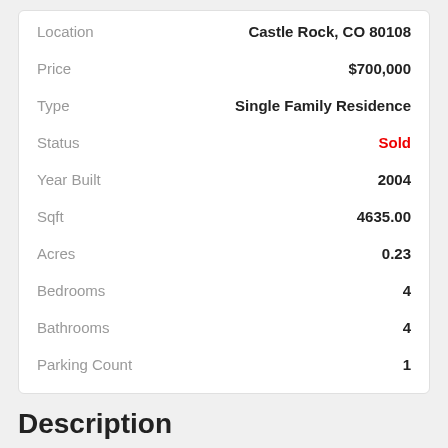| Field | Value |
| --- | --- |
| Location | Castle Rock, CO 80108 |
| Price | $700,000 |
| Type | Single Family Residence |
| Status | Sold |
| Year Built | 2004 |
| Sqft | 4635.00 |
| Acres | 0.23 |
| Bedrooms | 4 |
| Bathrooms | 4 |
| Parking Count | 1 |
Description